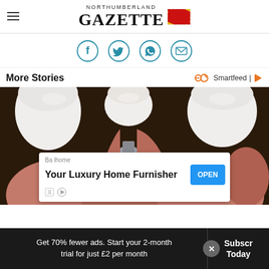NORTHUMBERLAND GAZETTE
[Figure (other): Social share icons: Facebook, Twitter, WhatsApp, Email — circular teal outlined icons]
More Stories
[Figure (photo): Close-up medical illustration of dental implant cross-section showing teeth, gums, and a metal implant screw]
Balhome
Your Luxury Home Furnisher — OPEN button advertisement overlay
Get 70% fewer ads. Start your 2-month trial for just £2 per month — Subscribe Today